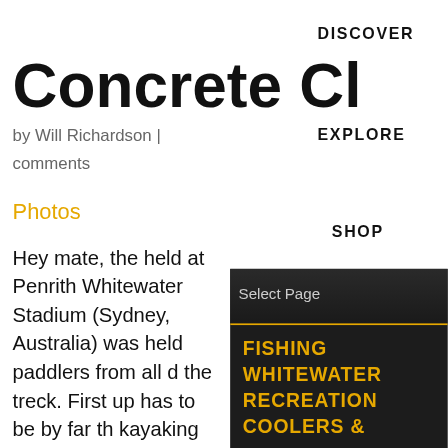DISCOVER
Concrete Cl
by Will Richardson | comments
Photos
EXPLORE
SHOP
Hey mate, the held at Penrith Whitewater Stadium (Sydney, Australia) was held paddlers from all d the treck. First up has to be by far th kayaking event an great deal of carn is for teams of thr
Select Page
FISHING
WHITEWATER
RECREATION
COOLERS &